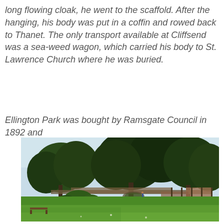long flowing cloak, he went to the scaffold. After the hanging, his body was put in a coffin and rowed back to Thanet. The only transport available at Cliffsend was a sea-weed wagon, which carried his body to St. Lawrence Church where he was buried.
Ellington Park was bought by Ramsgate Council in 1892 and
[Figure (photo): Photograph of Ellington Park showing a green lawn in the foreground, ornamental shrubs and trees in the middle ground, and large mature trees in the background under a light blue sky.]